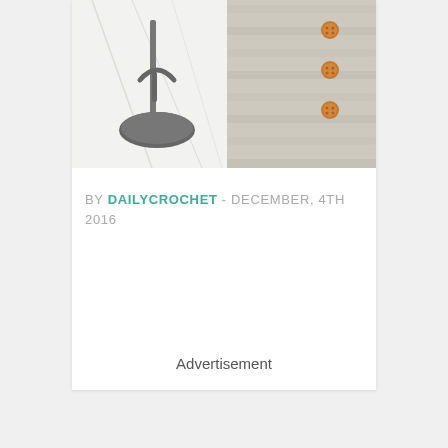[Figure (photo): Overhead flat-lay photo showing a gray flip-flop sandal on the left and a textured gray crocheted fabric piece with orange buttons on the right, on a white marble surface.]
BY DAILYCROCHET - DECEMBER, 4TH 2016
Advertisement